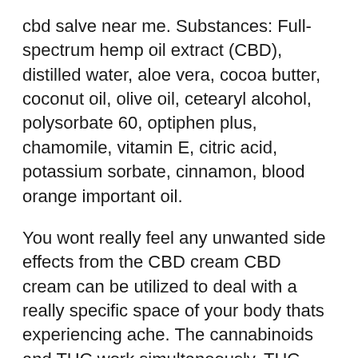cbd salve near me. Substances: Full-spectrum hemp oil extract (CBD), distilled water, aloe vera, cocoa butter, coconut oil, olive oil, cetearyl alcohol, polysorbate 60, optiphen plus, chamomile, vitamin E, citric acid, potassium sorbate, cinnamon, blood orange important oil.
You wont really feel any unwanted side effects from the CBD cream CBD cream can be utilized to deal with a really specific space of your body thats experiencing ache. The cannabinoids and THC work simultaneously. THC and CBD take up and enhance the metabolism of the body. It further produces warmth and relaxes the muscle. The pain and disturbance that anxiousness causes will disappear in no time.
This is an all-pure organic salve made by Rob